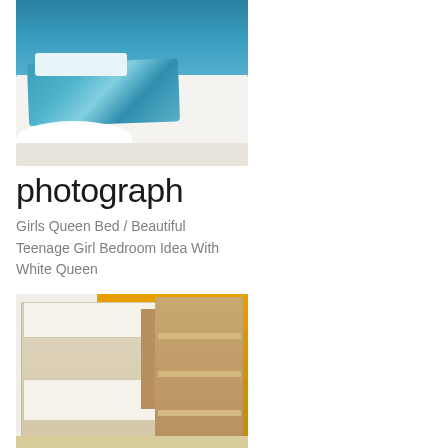[Figure (photo): Teenage girl bedroom with blue/teal walls, white queen bed frame with blue patterned bedding and white throw blanket, white fluffy rug on wooden floor]
photograph
Girls Queen Bed / Beautiful Teenage Girl Bedroom Idea With White Queen
[Figure (photo): Bunk bed with desk/shelving unit against yellow/orange wall, light wood and brown finish, multiple shelves and a chair]